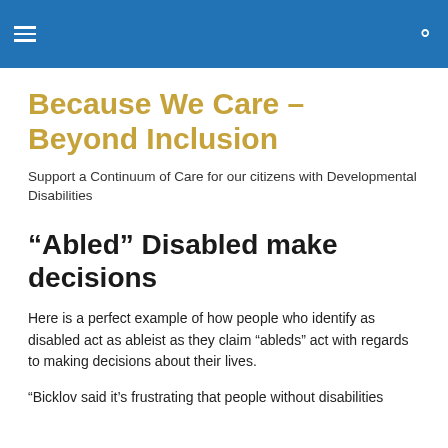Because We Care – Beyond Inclusion
Support a Continuum of Care for our citizens with Developmental Disabilities
“Abled” Disabled make decisions
Here is a perfect example of how people who identify as disabled act as ableist as they claim “ableds” act with regards to making decisions about their lives.
“Bicklov said it’s frustrating that people without disabilities